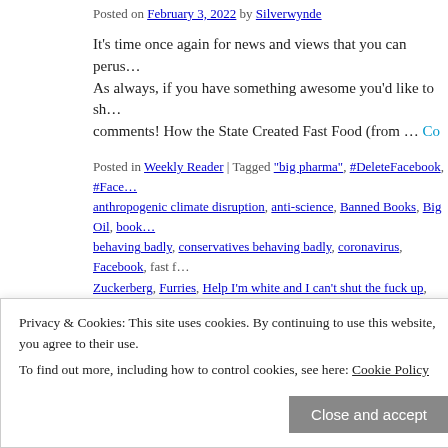Posted on February 3, 2022 by Silverwynde
It's time once again for news and views that you can perus… As always, if you have something awesome you'd like to sh… comments! How the State Created Fast Food (from … Co
Posted in Weekly Reader | Tagged "big pharma", #DeleteFacebook, #Face… anthropogenic climate disruption, anti-science, Banned Books, Big Oil, book… behaving badly, conservatives behaving badly, coronavirus, Facebook, fast f… Zuckerberg, Furries, Help I'm white and I can't shut the fuck up, LGBTQ, ope… rights, the environment, war on agency, Zark Fuckerberg | Leave a commer…
In His Own Words
Posted on April 13, 2021 by Silverwynde
Privacy & Cookies: This site uses cookies. By continuing to use this website, you agree to their use. To find out more, including how to control cookies, see here: Cookie Policy
Grand Old Asshats, Help I'm white and I can't shut the fuck up, Racists, Rus…